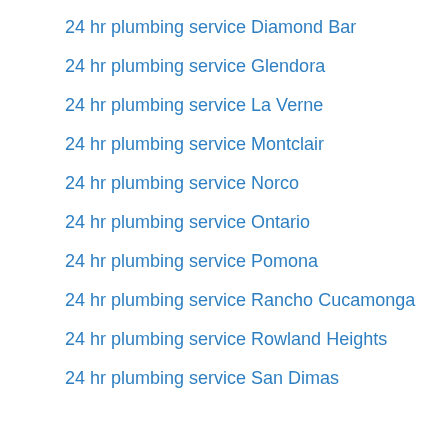24 hr plumbing service Diamond Bar
24 hr plumbing service Glendora
24 hr plumbing service La Verne
24 hr plumbing service Montclair
24 hr plumbing service Norco
24 hr plumbing service Ontario
24 hr plumbing service Pomona
24 hr plumbing service Rancho Cucamonga
24 hr plumbing service Rowland Heights
24 hr plumbing service San Dimas